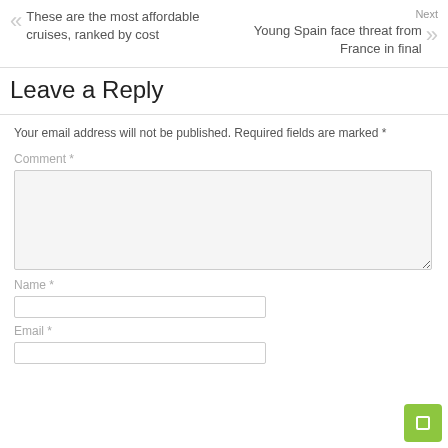These are the most affordable cruises, ranked by cost
Next
Young Spain face threat from France in final
Leave a Reply
Your email address will not be published. Required fields are marked *
Comment *
Name *
Email *